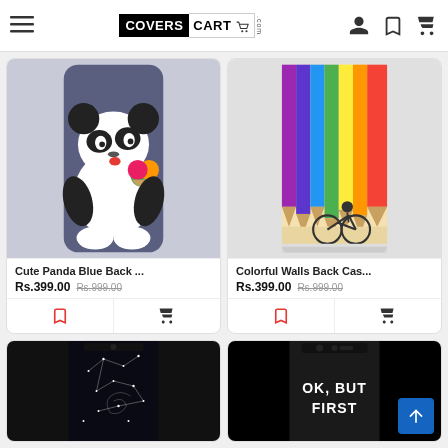CoversCart.com
[Figure (photo): Cute Panda phone back case on dark blue background]
Cute Panda Blue Back ...
Rs.399.00 Rs.999.00
[Figure (photo): Colorful pencils/walls phone back case]
Colorful Walls Back Cas...
Rs.399.00 Rs.999.00
[Figure (photo): Star constellation phone back case on black background]
[Figure (photo): OK BUT FIRST text phone back case on black background]